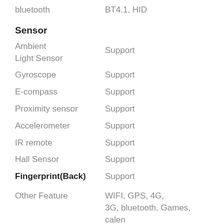| Feature | Value |
| --- | --- |
| bluetooth | BT4.1, HID |
| Sensor |  |
| Ambient Light Sensor | Support |
| Gyroscope | Support |
| E-compass | Support |
| Proximity sensor | Support |
| Accelerometer | Support |
| IR remote | Support |
| Hall Sensor | Support |
| Fingerprint(Back) | Support |
| Other Feature | WIFI, GPS, 4G, 3G, bluetooth, Games, calen |
| Battery (Built-in) | 4100 mAh (typ) / 4000 mAh (min) |